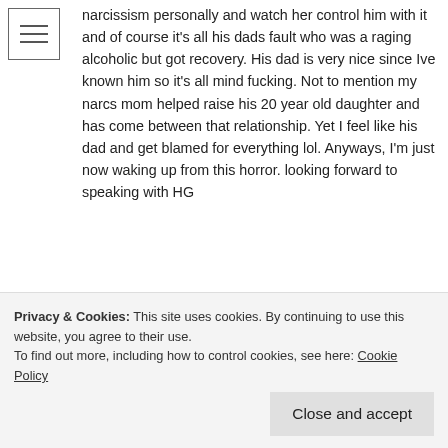narcissism personally and watch her control him with it and of course it's all his dads fault who was a raging alcoholic but got recovery. His dad is very nice since Ive known him so it's all mind fucking. Not to mention my narcs mom helped raise his 20 year old daughter and has come between that relationship. Yet I feel like his dad and get blamed for everything lol. Anyways, I'm just now waking up from this horror. looking forward to speaking with HG
Loading...
Reply
Privacy & Cookies: This site uses cookies. By continuing to use this website, you agree to their use. To find out more, including how to control cookies, see here: Cookie Policy